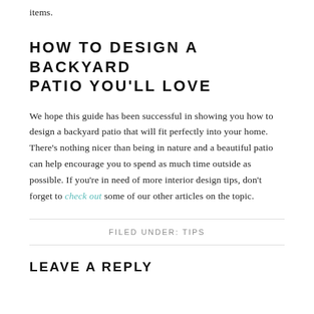items.
HOW TO DESIGN A BACKYARD PATIO YOU'LL LOVE
We hope this guide has been successful in showing you how to design a backyard patio that will fit perfectly into your home. There’s nothing nicer than being in nature and a beautiful patio can help encourage you to spend as much time outside as possible. If you’re in need of more interior design tips, don’t forget to check out some of our other articles on the topic.
FILED UNDER: TIPS
LEAVE A REPLY